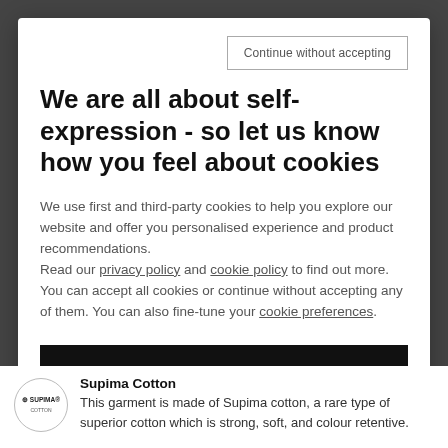Continue without accepting
We are all about self-expression - so let us know how you feel about cookies
We use first and third-party cookies to help you explore our website and offer you personalised experience and product recommendations.
Read our privacy policy and cookie policy to find out more. You can accept all cookies or continue without accepting any of them. You can also fine-tune your cookie preferences.
Allow all
Supima Cotton
This garment is made of Supima cotton, a rare type of superior cotton which is strong, soft, and colour retentive.